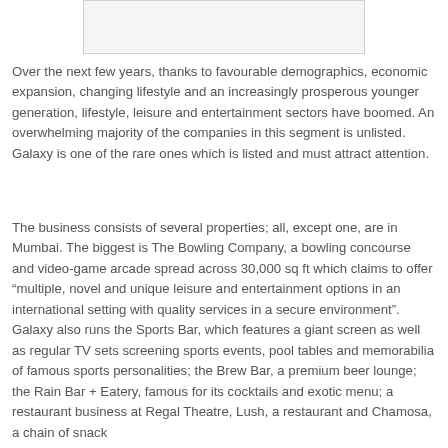[Figure (other): Image placeholder or logo at top of page]
Over the next few years, thanks to favourable demographics, economic expansion, changing lifestyle and an increasingly prosperous younger generation, lifestyle, leisure and entertainment sectors have boomed. An overwhelming majority of the companies in this segment is unlisted. Galaxy is one of the rare ones which is listed and must attract attention.
The business consists of several properties; all, except one, are in Mumbai. The biggest is The Bowling Company, a bowling concourse and video-game arcade spread across 30,000 sq ft which claims to offer “multiple, novel and unique leisure and entertainment options in an international setting with quality services in a secure environment”. Galaxy also runs the Sports Bar, which features a giant screen as well as regular TV sets screening sports events, pool tables and memorabilia of famous sports personalities; the Brew Bar, a premium beer lounge; the Rain Bar + Eatery, famous for its cocktails and exotic menu; a restaurant business at Regal Theatre, Lush, a restaurant and Chamosa, a chain of snack